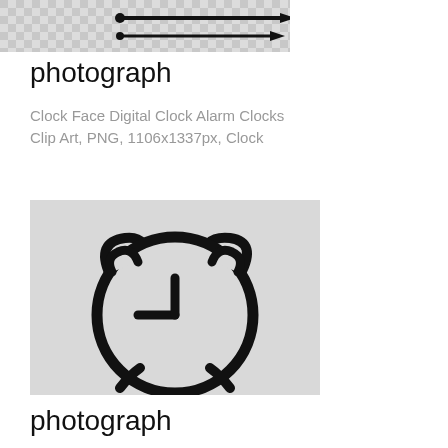[Figure (illustration): Partial top of decorative arrows/clock hands on checkered background]
photograph
Clock Face Digital Clock Alarm Clocks Clip Art, PNG, 1106x1337px, Clock
[Figure (illustration): Outline drawing of an alarm clock with two bells on top and legs at bottom, showing approximately 9:15 time, on light gray background]
photograph